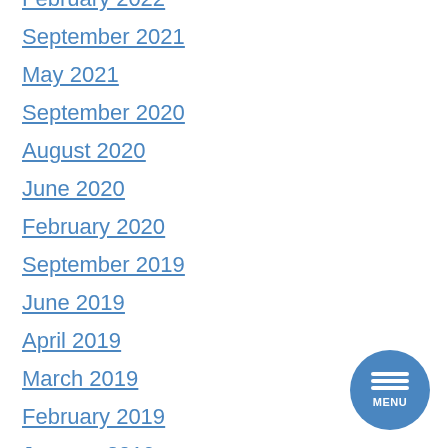February 2022
September 2021
May 2021
September 2020
August 2020
June 2020
February 2020
September 2019
June 2019
April 2019
March 2019
February 2019
January 2019